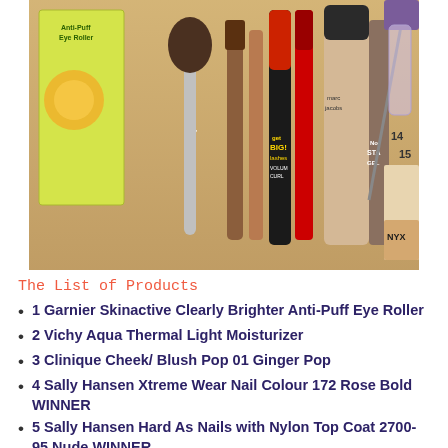[Figure (photo): Photo of various beauty and makeup products arranged on a wooden surface, numbered 7 through 15, including brushes, mascara, foundation, and other cosmetic items.]
The List of Products
1 Garnier Skinactive Clearly Brighter Anti-Puff Eye Roller
2 Vichy Aqua Thermal Light Moisturizer
3 Clinique Cheek/ Blush Pop 01 Ginger Pop
4 Sally Hansen Xtreme Wear Nail Colour 172 Rose Bold WINNER
5 Sally Hansen Hard As Nails with Nylon Top Coat 2700-95 Nude WINNER